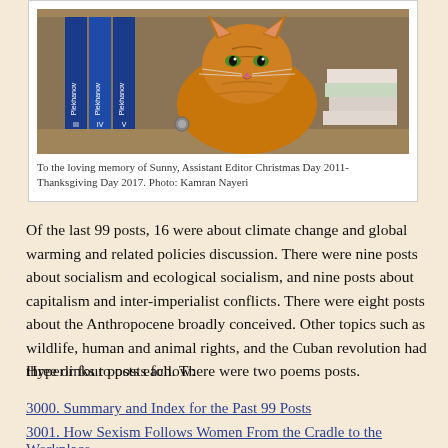[Figure (photo): Orange tabby cat sitting on a wooden bookshelf between blue Plekhanov volumes and stacked books]
To the loving memory of Sunny, Assistant Editor Christmas Day 2011-Thanksgiving Day 2017. Photo: Kamran Nayeri
Of the last 99 posts, 16 were about climate change and global warming and related policies discussion. There were nine posts about socialism and ecological socialism, and nine posts about capitalism and inter-imperialist conflicts. There were eight posts about the Anthropocene broadly conceived.  Other topics such as wildlife, human and animal rights, and the Cuban revolution had three or four posts each. There were two poems posts.
Hyperlinks to posts follow:
3000. Summary and Index for the Past 99 Posts
3001. How Sexism Follows Women From the Cradle to the Workplace